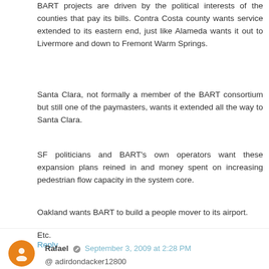BART projects are driven by the political interests of the counties that pay its bills. Contra Costa county wants service extended to its eastern end, just like Alameda wants it out to Livermore and down to Fremont Warm Springs.
Santa Clara, not formally a member of the BART consortium but still one of the paymasters, wants it extended all the way to Santa Clara.
SF politicians and BART's own operators want these expansion plans reined in and money spent on increasing pedestrian flow capacity in the system core.
Oakland wants BART to build a people mover to its airport.
Etc.
Reply
Rafael · September 3, 2009 at 2:28 PM
@ adirdondacker12800